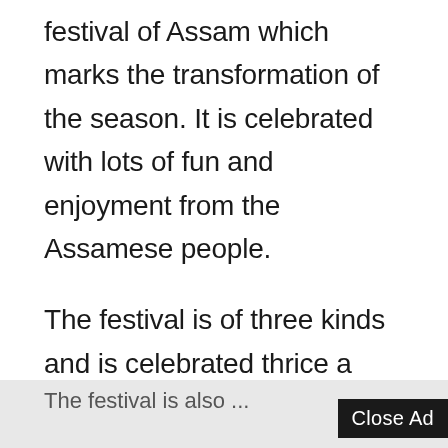festival of Assam which marks the transformation of the season. It is celebrated with lots of fun and enjoyment from the Assamese people.
The festival is of three kinds and is celebrated thrice a year. Bohag Bihu or Rongali Bihu is celebrated in the month of April, Magh Bihu or Bhogali Bihu in the month of January, and Kati or Kongali Bihu in the month of October or November.
The festival is also...